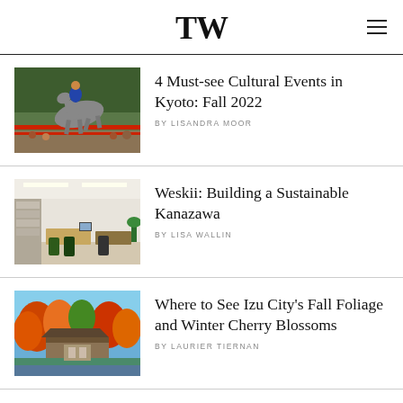TW
4 Must-see Cultural Events in Kyoto: Fall 2022
BY LISANDRA MOOR
[Figure (photo): Horseback rider in traditional Japanese attire jumping during a festival]
Weskii: Building a Sustainable Kanazawa
BY LISA WALLIN
[Figure (photo): Modern bright office interior with desks and chairs]
Where to See Izu City's Fall Foliage and Winter Cherry Blossoms
BY LAURIER TIERNAN
[Figure (photo): Autumn foliage scene with colorful trees near a traditional building]
The Aichi Prefectural Art Theater Aims for the Sky with the